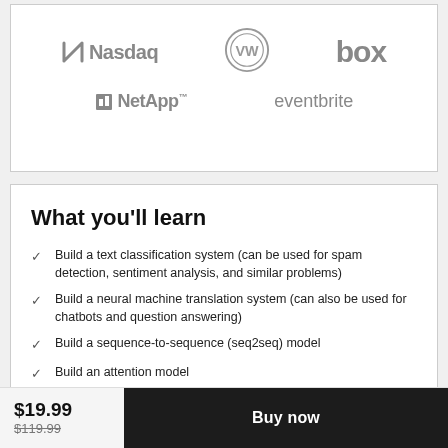[Figure (logo): Company logos: Nasdaq, Volkswagen, Box, NetApp, Eventbrite]
What you'll learn
Build a text classification system (can be used for spam detection, sentiment analysis, and similar problems)
Build a neural machine translation system (can also be used for chatbots and question answering)
Build a sequence-to-sequence (seq2seq) model
Build an attention model
$19.99
$119.99
Buy now